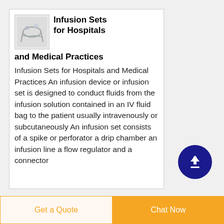[Figure (photo): Small product image of infusion set tubing/connectors, grey background]
Infusion Sets for Hospitals and Medical Practices
Infusion Sets for Hospitals and Medical Practices An infusion device or infusion set is designed to conduct fluids from the infusion solution contained in an IV fluid bag to the patient usually intravenously or subcutaneously An infusion set consists of a spike or perforator a drip chamber an infusion line a flow regulator and a connector
[Figure (illustration): Dark blue circle button with white upward arrow icon, scroll-to-top button]
Get a Quote
Chat Now